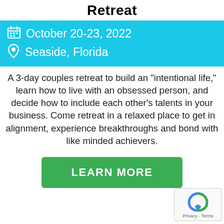Retreat
October 20-23, 2022
Seaside, Florida
A 3-day couples retreat to build an "intentional life," learn how to live with an obsessed person, and decide how to include each other's talents in your business. Come retreat in a relaxed place to get in alignment, experience breakthroughs and bond with like minded achievers.
LEARN MORE